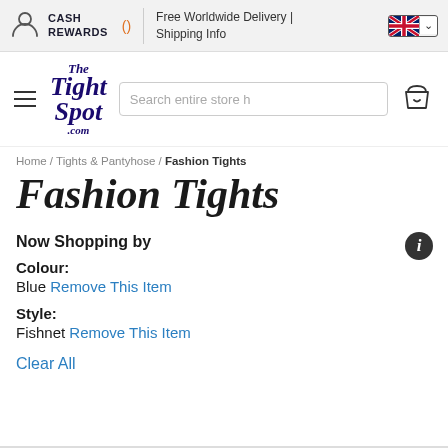CASH REWARDS () | Free Worldwide Delivery | Shipping Info
[Figure (logo): The Tight Spot .com logo in dark navy italic serif font]
Search entire store here
Home / Tights & Pantyhose / Fashion Tights
Fashion Tights
Now Shopping by
Colour:
Blue Remove This Item
Style:
Fishnet Remove This Item
Clear All